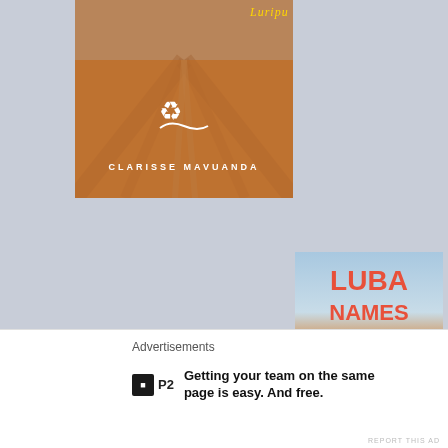[Figure (illustration): Top portion of a book cover showing a dirt road in African landscape with author name CLARISSE MAVUANDA and a logo, dark reddish-brown earth tones]
[Figure (illustration): Full book cover for 'LUBA NAMES AND SURNAMES 2nd Edition' showing African landscape with a lone tree, sky gradient, red/coral bold title text, gold italic edition label, and publisher logo at bottom]
BUY YOUR COPY NOW!
Advertisements
Getting your team on the same page is easy. And free.